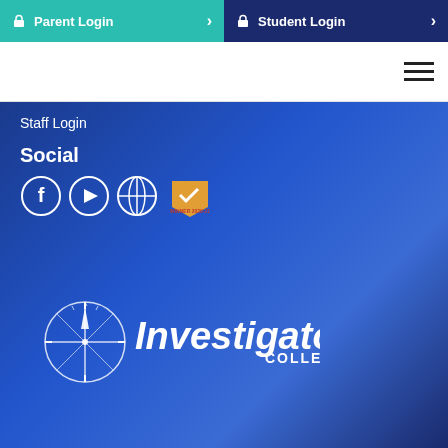Parent Login | Student Login
Staff Login
Social
[Figure (logo): Investigator College logo with compass rose icon and white text]
Copyright © 2022 Investigator College
Designed by D.Why | Developed by Chromatix